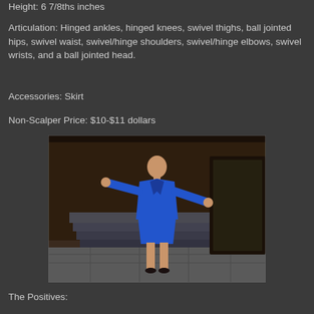Height: 6 7/8ths inches
Articulation: Hinged ankles, hinged knees, swivel thighs, ball jointed hips, swivel waist, swivel/hinge shoulders, swivel/hinge elbows, swivel wrists, and a ball jointed head.
Accessories: Skirt
Non-Scalper Price: $10-$11 dollars
[Figure (photo): Action figure of a bald female character wearing a blue leather jacket and skirt, posed with arms outstretched, standing in front of a dark wooden backdrop with steps.]
The Positives: